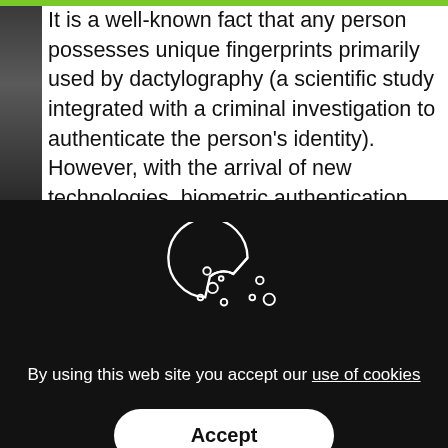It is a well-known fact that any person possesses unique fingerprints primarily used by dactylography (a scientific study integrated with a criminal investigation to authenticate the person's identity). However, with the arrival of new technologies, biometric authentication has become a mainstream method to safeguard the
[Figure (screenshot): Cookie consent overlay on a dark background featuring a cookie icon (bitten cookie with dots/crumbs) and text 'By using this web site you accept our use of cookies' with an Accept button.]